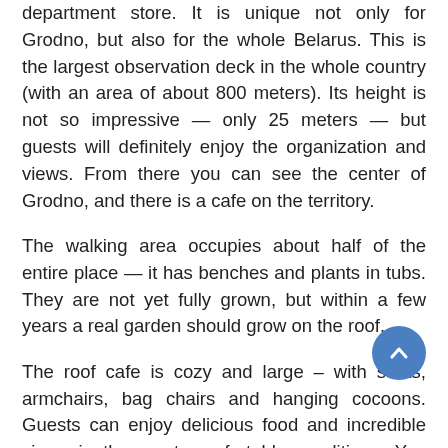department store. It is unique not only for Grodno, but also for the whole Belarus. This is the largest observation deck in the whole country (with an area of about 800 meters). Its height is not so impressive — only 25 meters — but guests will definitely enjoy the organization and views. From there you can see the center of Grodno, and there is a cafe on the territory.
The walking area occupies about half of the entire place — it has benches and plants in tubs. They are not yet fully grown, but within a few years a real garden should grow on the roof.
The roof cafe is cozy and large – with sofas, armchairs, bag chairs and hanging cocoons. Guests can enjoy delicious food and incredible views in the most comfortable conditions. You can get there either by a panoramic elevator or by stairs – the entrance to the walking area is free for everyone.
Tower of the Holy Intercession Cathedral